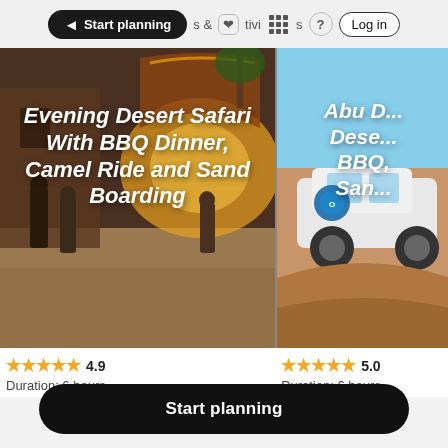Start planning  &  Activities  ?  Log in
[Figure (screenshot): Travel activity card showing an evening desert safari scene with people and ornate arch in background, warm golden-brown tones]
Evening Desert Safari With BBQ Dinner, Camel Ride and Sand Boarding
[Figure (screenshot): Partial travel activity card showing Abu Dhabi Desert Safari with BBQ, an SUV vehicle on sand dunes, blue and sandy tones]
Abu D... Dese... BBQ, Sam...
★★★★★ 4.9  Duration: 6 hours
★★★★★ 5.0  Duration: 6 hours
Start planning